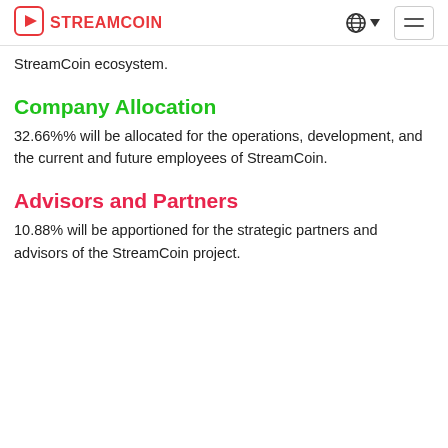STREAMCOIN
StreamCoin ecosystem.
Company Allocation
32.66%% will be allocated for the operations, development, and the current and future employees of StreamCoin.
Advisors and Partners
10.88% will be apportioned for the strategic partners and advisors of the StreamCoin project.